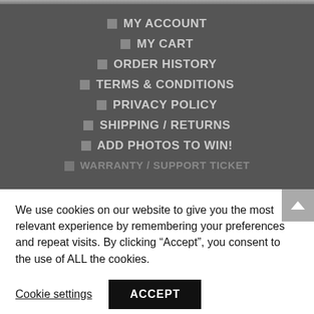MY ACCOUNT
MY CART
ORDER HISTORY
TERMS & CONDITIONS
PRIVACY POLICY
SHIPPING / RETURNS
ADD PHOTOS TO WIN!
WARRANTY / SUPPORT TICKET
We use cookies on our website to give you the most relevant experience by remembering your preferences and repeat visits. By clicking “Accept”, you consent to the use of ALL the cookies.
Cookie settings | ACCEPT